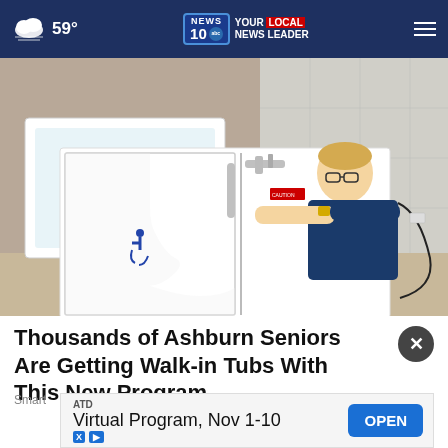59° NEWS 10 YOUR LOCAL NEWS LEADER
[Figure (photo): Man sitting inside a white walk-in bathtub in a bathroom showroom; another tub visible in background. The tub has a side-access door with a wheelchair accessibility symbol and chrome fixtures.]
Thousands of Ashburn Seniors Are Getting Walk-in Tubs With This New Program
Smart
ATD Virtual Program, Nov 1-10 OPEN